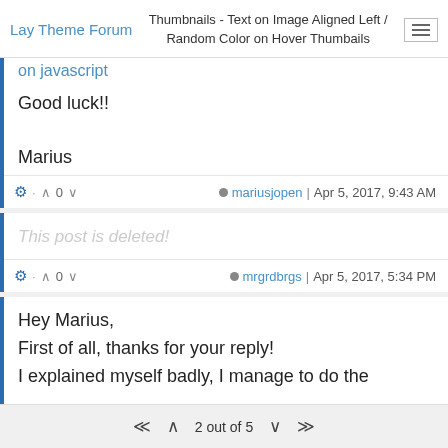Lay Theme Forum | Thumbnails - Text on Image Aligned Left / Random Color on Hover Thumbails
on javascript
Good luck!!

Marius
⚙ · ∧ 0 ∨  mariusjopen | Apr 5, 2017, 9:43 AM
This post is deleted!
⚙ · ∧ 0 ∨  mrgrdbrgs | Apr 5, 2017, 5:34 PM
Hey Marius,
First of all, thanks for your reply!
I explained myself badly, I manage to do the
⟨⟨ ∧ 2 out of 5 ∨ ⟩⟩